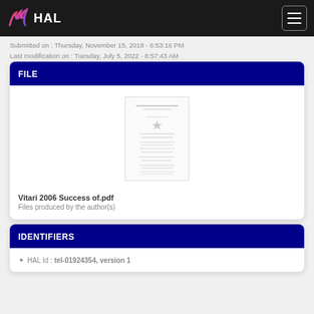HAL
Submitted on : Thursday, November 15, 2018 - 6:53:16 PM
Last modification on : Tuesday, July 5, 2022 - 8:57:43 AM
FILE
[Figure (other): Thumbnail preview of PDF document titled Vitari 2006 Success of.pdf]
Vitari 2006 Success of.pdf
Files produced by the author(s)
IDENTIFIERS
HAL Id : tel-01924354, version 1